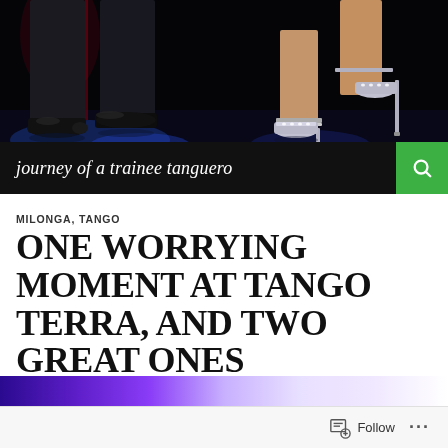[Figure (photo): Close-up photo of tango dancers' feet and shoes on a dark stage with blue lighting. Left side shows men's black leather shoes, right side shows women's silver/rhinestone heeled sandals.]
journey of a trainee tanguero
MILONGA, TANGO
ONE WORRYING MOMENT AT TANGO TERRA, AND TWO GREAT ONES
JANUARY 26, 2020  BEN LOVEJOY  LEAVE A COMMENT
[Figure (photo): Bottom strip showing partial image with purple/violet gradient tones, appears to be a dance floor or venue.]
Follow